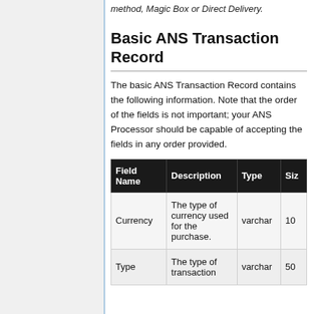method, Magic Box or Direct Delivery.
Basic ANS Transaction Record
The basic ANS Transaction Record contains the following information. Note that the order of the fields is not important; your ANS Processor should be capable of accepting the fields in any order provided.
| Field Name | Description | Type | Size |
| --- | --- | --- | --- |
| Currency | The type of currency used for the purchase. | varchar | 10 |
| Type | The type of transaction | varchar | 50 |